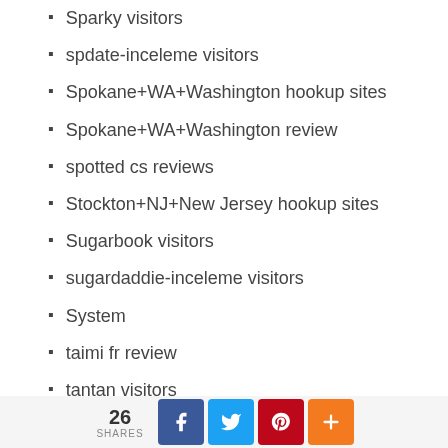Sparky visitors
spdate-inceleme visitors
Spokane+WA+Washington hookup sites
Spokane+WA+Washington review
spotted cs reviews
Stockton+NJ+New Jersey hookup sites
Sugarbook visitors
sugardaddie-inceleme visitors
System
taimi fr review
tantan visitors
tastebuds visitors
TGPersonals visitors
the adult hub fr review
The Inner Circle app
Three Day Rule visitors
26 SHARES